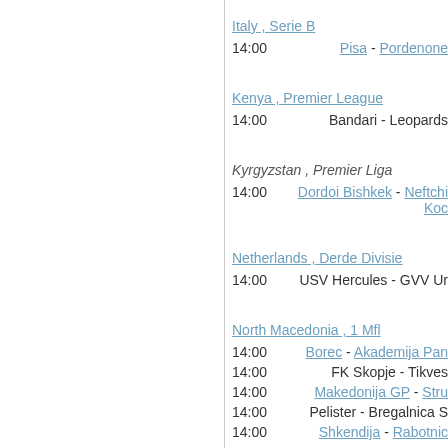Italy , Serie B
14:00   Pisa - Pordenone
Kenya , Premier League
14:00   Bandari - Leopards
Kyrgyzstan , Premier Liga
14:00   Dordoi Bishkek - Neftchi Koc
Netherlands , Derde Divisie
14:00   USV Hercules - GVV Ur
North Macedonia , 1 Mfl
14:00   Borec - Akademija Pan
14:00   FK Skopje - Tikves
14:00   Makedonija GP - Stru
14:00   Pelister - Bregalnica S
14:00   Shkendija - Rabotnic